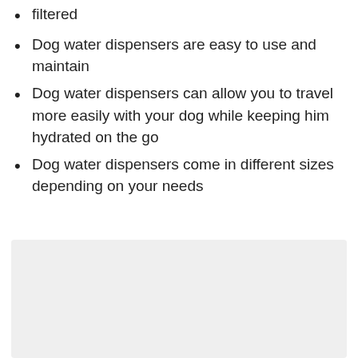filtered
Dog water dispensers are easy to use and maintain
Dog water dispensers can allow you to travel more easily with your dog while keeping him hydrated on the go
Dog water dispensers come in different sizes depending on your needs
[Figure (other): Light gray placeholder box]